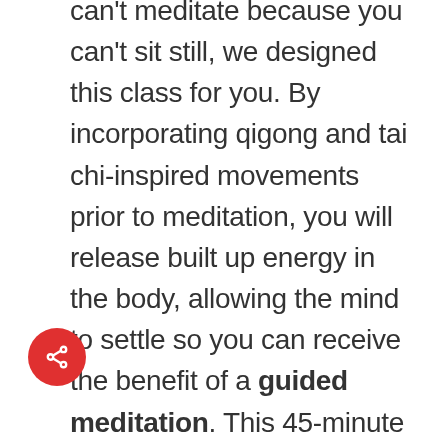can't meditate because you can't sit still, we designed this class for you. By incorporating qigong and tai chi-inspired movements prior to meditation, you will release built up energy in the body, allowing the mind to settle so you can receive the benefit of a guided meditation. This 45-minute class is perfectly balanced with movement and meditation so you won't get bored. No experience needed. All Welcome.

Blanket, Bolster, and blocks are recommended, but not mats. Empower can provide for in-studio participants, but please